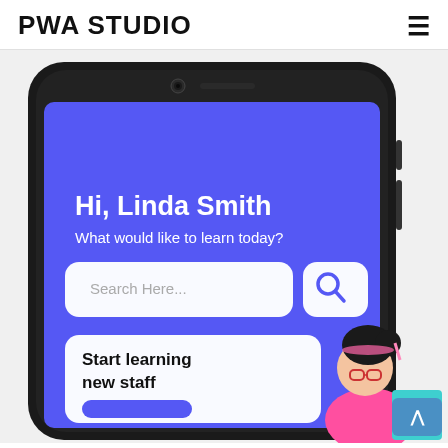PWA STUDIO
[Figure (screenshot): A smartphone mockup showing a PWA Studio mobile app UI with a blue background. The screen shows 'Hi, Linda Smith' and 'What would like to learn today?' with a search bar and a 'Start learning new staff' card below. An illustration of a girl with glasses is partly visible in the lower right of the phone screen.]